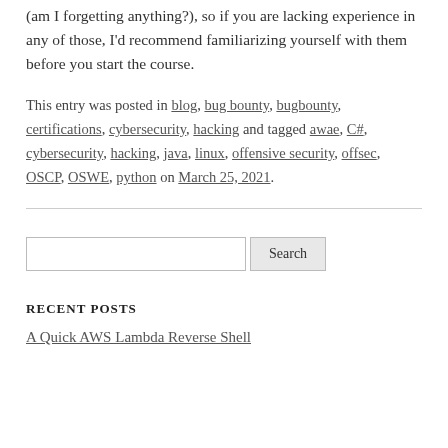(am I forgetting anything?), so if you are lacking experience in any of those, I'd recommend familiarizing yourself with them before you start the course.
This entry was posted in blog, bug bounty, bugbounty, certifications, cybersecurity, hacking and tagged awae, C#, cybersecurity, hacking, java, linux, offensive security, offsec, OSCP, OSWE, python on March 25, 2021.
Search
RECENT POSTS
A Quick AWS Lambda Reverse Shell